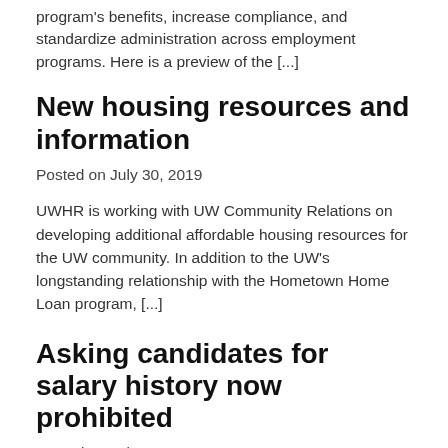program's benefits, increase compliance, and standardize administration across employment programs. Here is a preview of the [...]
New housing resources and information
Posted on July 30, 2019
UWHR is working with UW Community Relations on developing additional affordable housing resources for the UW community. In addition to the UW's longstanding relationship with the Hometown Home Loan program, [...]
Asking candidates for salary history now prohibited
Posted on July 30, 2019
House Bill 1696 amends and strengthens the state's